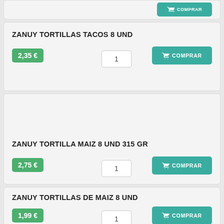ZANUY TORTILLAS TACOS 8 UND
2,35 €
1
COMPRAR
ZANUY TORTILLA MAIZ 8 UND 315 GR
2,75 €
1
COMPRAR
ZANUY TORTILLAS DE MAIZ 8 UND
1,99 €
1
COMPRAR